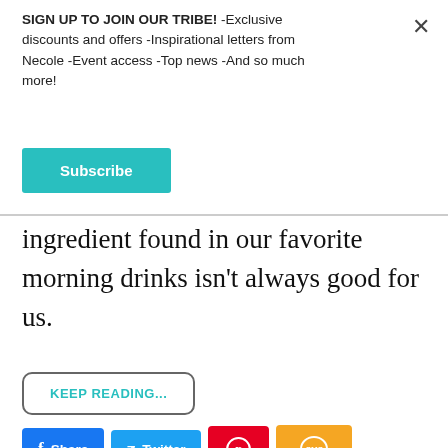SIGN UP TO JOIN OUR TRIBE! -Exclusive discounts and offers -Inspirational letters from Necole -Event access -Top news -And so much more!
[Figure (other): Teal 'Subscribe' button]
ingredient found in our favorite morning drinks isn't always good for us.
[Figure (other): KEEP READING... button with rounded border in teal text]
[Figure (other): Social share buttons: Share (Facebook, blue), Twitter (blue), Pinterest (red with circle P icon), SMS (orange with speech bubble icon)]
[Figure (other): Advertisement banner for European Wax Center / smooth – gradient pink/purple background, red box with logo text, 'smooth IS CLOSER THAN YOU THINK', 'FIRST WAX FREE', BOOK NOW button]